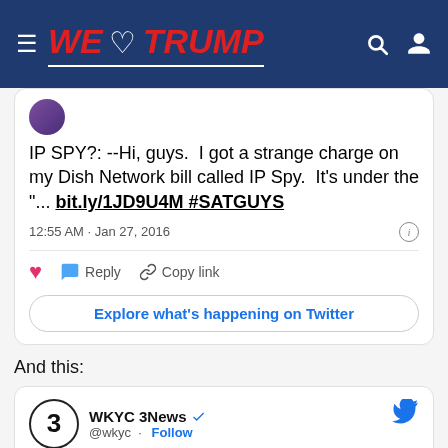WE TRUMP
IP SPY?: --Hi, guys.  I got a strange charge on my Dish Network bill called IP Spy.  It's under the "... bit.ly/1JD9U4M #SATGUYS
12:55 AM · Jan 27, 2016
Reply  Copy link
Explore what's happening on Twitter
And this:
WKYC 3News @wkyc · Follow
Geek Squad accused of spying & Dish